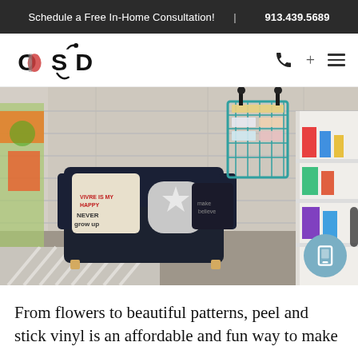Schedule a Free In-Home Consultation!  |  913.439.5689
[Figure (logo): OSD logo with stylized letters O, S, D in black and red/grey colors with a decorative music-note-like curve above the S]
[Figure (photo): Children's playroom with a dark navy mini sofa bearing decorative pillows reading 'Never Grow Up' and 'Home is My Happy Place', a wood-plank accent wall, teal wire wall organizer filled with books and toys, cream carpet, grey chevron rug, and colorful toy storage shelving on the right]
From flowers to beautiful patterns, peel and stick vinyl is an affordable and fun way to make